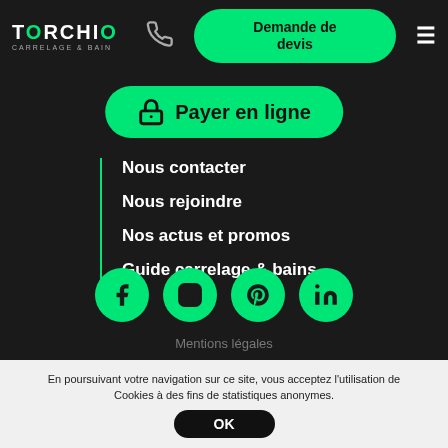[Figure (logo): Torchio Carrelage & Bain logo in white with green dot on i]
[Figure (screenshot): Phone call icon in grey]
Demande de devis
Payer en ligne
Nous contacter
Nous rejoindre
Nos actus et promos
Guide carrelage & bains
[Figure (infographic): Social media icons: Facebook, Instagram, Pinterest, LinkedIn in green circles]
Mentions légales
En poursuivant votre navigation sur ce site, vous acceptez l'utilisation de Cookies à des fins de statistiques anonymes.
OK